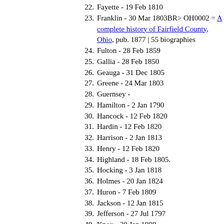22. Fayette - 19 Feb 1810
23. Franklin - 30 Mar 1803BR> OH0002 = A complete history of Fairfield County, Ohio, pub. 1877 | 55 biographies
24. Fulton - 28 Feb 1859
25. Gallia - 28 Feb 1850
26. Geauga - 31 Dec 1805
27. Greene - 24 Mar 1803
28. Guernsey -
29. Hamilton - 2 Jan 1790
30. Hancock - 12 Feb 1820
31. Hardin - 12 Feb 1820
32. Harrison - 2 Jan 1813
33. Henry - 12 Feb 1820
34. Highland - 18 Feb 1805.
35. Hocking - 3 Jan 1818
36. Holmes - 20 Jan 1824
37. Huron - 7 Feb 1809
38. Jackson - 12 Jan 1815
39. Jefferson - 27 Jul 1797
40. Knox - 30 Jan 1808
41. Lake - 6 Mar 1840
42. Lawrence - 21 Dec 1815
43. Licking - 30 Jan 1808
44. Logan - 30 Dec 1818